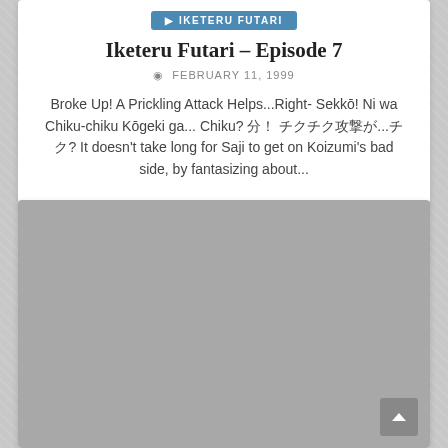Iketeru Futari – Episode 7
FEBRUARY 11, 1999
Broke Up! A Prickling Attack Helps...Right- Sekkō! Ni wa Chiku-chiku Kōgeki ga... Chiku? 分！ チクチク攻撃が...チク? It doesn't take long for Saji to get on Koizumi's bad side, by fantasizing about...
[Figure (photo): Large gray placeholder image area]